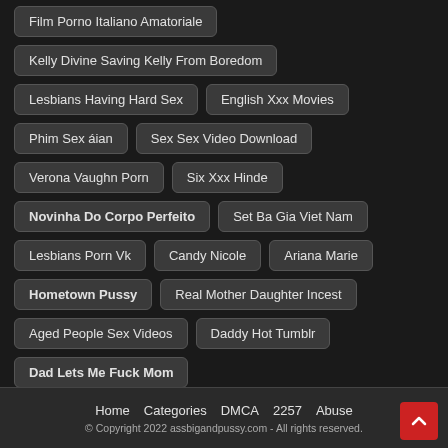Film Porno Italiano Amatoriale
Kelly Divine Saving Kelly From Boredom
Lesbians Having Hard Sex
English Xxx Movies
Phim Sex áian
Sex Sex Video Download
Verona Vaughn Porn
Six Xxx Hinde
Novinha Do Corpo Perfeito
Set Ba Gia Viet Nam
Lesbians Porn Vk
Candy Nicole
Ariana Marie
Hometown Pussy
Real Mother Daughter Incest
Aged People Sex Videos
Daddy Hot Tumblr
Dad Lets Me Fuck Mom
Home   Categories   DMCA   2257   Abuse
© Copyright 2022 assbigandpussy.com - All rights reserved.